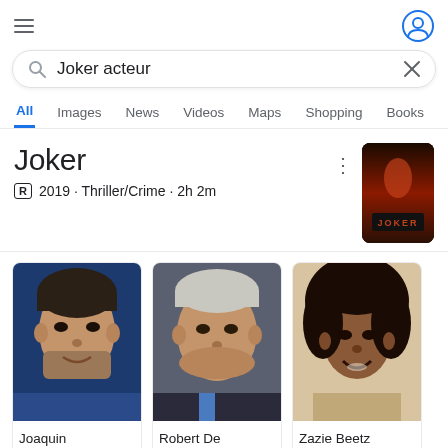[Figure (screenshot): Hamburger menu icon (three horizontal lines) at top left]
[Figure (screenshot): User avatar/profile icon circle at top right]
Joker acteur
All
Images
News
Videos
Maps
Shopping
Books
Joker
R  2019 · Thriller/Crime · 2h 2m
[Figure (photo): Joker movie poster - dark red/orange image of Joker character on stairs]
[Figure (photo): Photo of Joaquin Phoenix on blue background]
Joaquin Phoenix
[Figure (photo): Photo of Robert De Niro in suit]
Robert De Niro
[Figure (photo): Photo of Zazie Beetz smiling]
Zazie Beetz
Sophie Dum